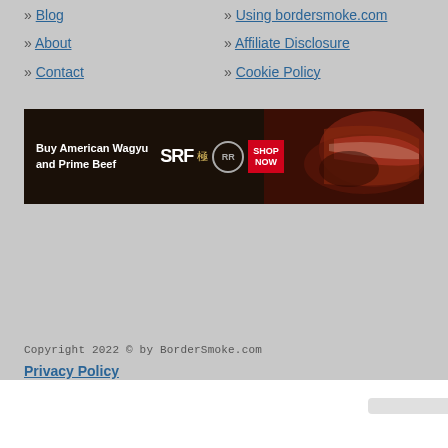» Blog
» Using bordersmoke.com
» About
» Affiliate Disclosure
» Contact
» Cookie Policy
[Figure (infographic): Advertisement banner for Snake River Farms: Buy American Wagyu and Prime Beef. Shows SRF logo with kanji character, RR branded logo, SHOP NOW button in red, and image of sliced beef on the right side.]
Copyright 2022 © by BorderSmoke.com
Privacy Policy